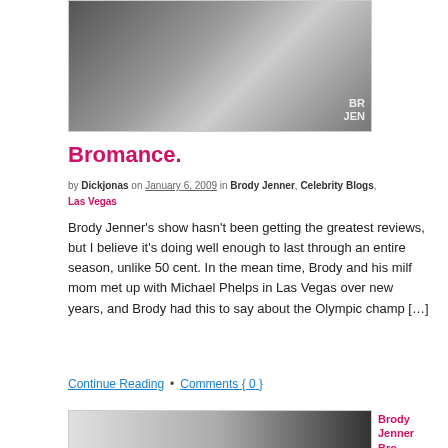[Figure (photo): Photo of two people, with watermark text 'BR JEN' visible in bottom right corner]
Bromance.
by Dickjonas on January 6, 2009 in Brody Jenner, Celebrity Blogs, Las Vegas
Brody Jenner's show hasn't been getting the greatest reviews, but I believe it's doing well enough to last through an entire season, unlike 50 cent. In the mean time, Brody and his milf mom met up with Michael Phelps in Las Vegas over new years, and Brody had this to say about the Olympic champ [...]
Continue Reading • Comments { 0 }
[Figure (photo): Partial photo visible at bottom of page, dark background with white circular shape]
Brody Jenner Bro...